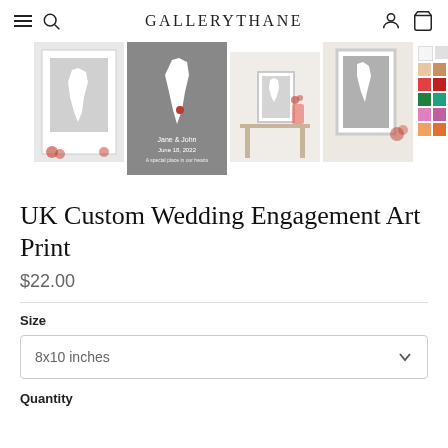GALLERYTHANE
[Figure (photo): Horizontal strip of 5 product thumbnails: framed UK map prints and a color swatch grid]
UK Custom Wedding Engagement Art Print
$22.00
Size
8x10 inches
Quantity